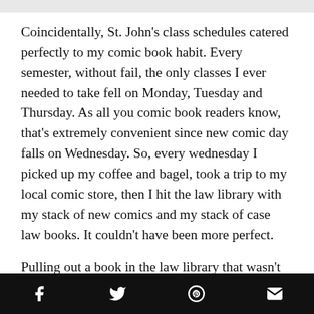Coincidentally, St. John's class schedules catered perfectly to my comic book habit. Every semester, without fail, the only classes I ever needed to take fell on Monday, Tuesday and Thursday. As all you comic book readers know, that's extremely convenient since new comic day falls on Wednesday. So, every wednesday I picked up my coffee and bagel, took a trip to my local comic store, then I hit the law library with my stack of new comics and my stack of case law books. It couldn't have been more perfect.
Pulling out a book in the law library that wasn't law